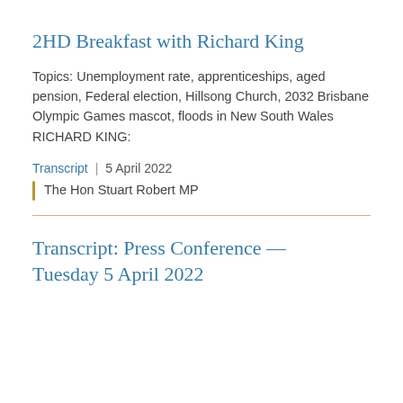2HD Breakfast with Richard King
Topics: Unemployment rate, apprenticeships, aged pension, Federal election, Hillsong Church, 2032 Brisbane Olympic Games mascot, floods in New South Wales RICHARD KING:
Transcript  |  5 April 2022
The Hon Stuart Robert MP
Transcript: Press Conference — Tuesday 5 April 2022